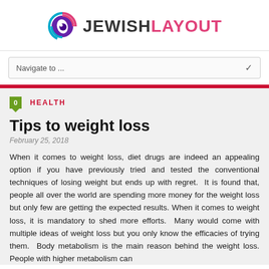[Figure (logo): JewishLayout logo with circular eye icon and pink/magenta text]
Navigate to ...
HEALTH
Tips to weight loss
February 25, 2018
When it comes to weight loss, diet drugs are indeed an appealing option if you have previously tried and tested the conventional techniques of losing weight but ends up with regret. It is found that, people all over the world are spending more money for the weight loss but only few are getting the expected results. When it comes to weight loss, it is mandatory to shed more efforts. Many would come with multiple ideas of weight loss but you only know the efficacies of trying them. Body metabolism is the main reason behind the weight loss. People with higher metabolism can